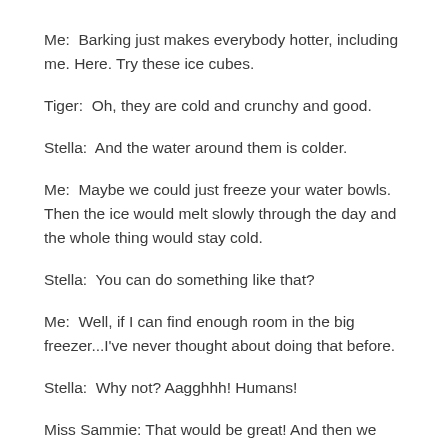Me:  Barking just makes everybody hotter, including me. Here. Try these ice cubes.
Tiger:  Oh, they are cold and crunchy and good.
Stella:  And the water around them is colder.
Me:  Maybe we could just freeze your water bowls. Then the ice would melt slowly through the day and the whole thing would stay cold.
Stella:  You can do something like that?
Me:  Well, if I can find enough room in the big freezer...I've never thought about doing that before.
Stella:  Why not? Aagghhh! Humans!
Miss Sammie: That would be great! And then we could...